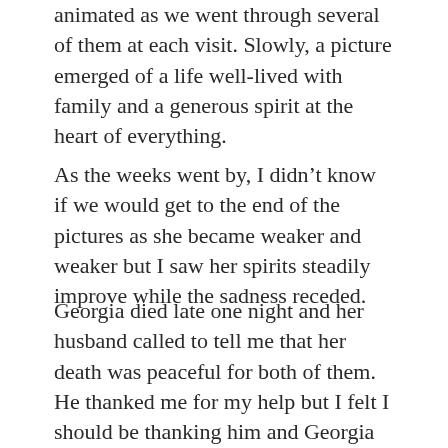animated as we went through several of them at each visit. Slowly, a picture emerged of a life well-lived with family and a generous spirit at the heart of everything.
As the weeks went by, I didn't know if we would get to the end of the pictures as she became weaker and weaker but I saw her spirits steadily improve while the sadness receded.
Georgia died late one night and her husband called to tell me that her death was peaceful for both of them. He thanked me for my help but I felt I should be thanking him and Georgia for the lesson they taught me about the beauty and importance of memories accumulated over a lifetime and remembered with love.